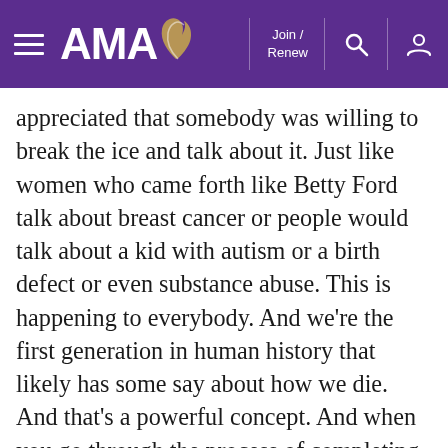AMA — Join / Renew
appreciated that somebody was willing to break the ice and talk about it. Just like women who came forth like Betty Ford talk about breast cancer or people would talk about a kid with autism or a birth defect or even substance abuse. This is happening to everybody. And we're the first generation in human history that likely has some say about how we die. And that's a powerful concept. And when you go through the process of completing the advance directive form, it also makes you think about your values and what's important to you and really ends up being about appreciating your life and the people you're with.